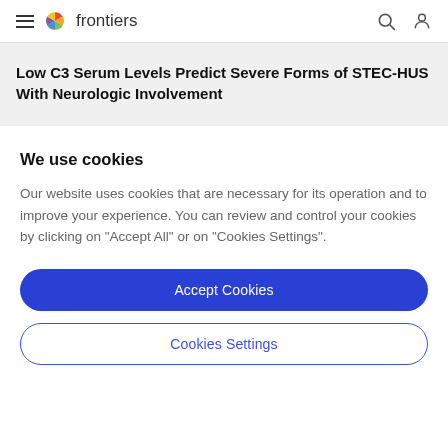frontiers
Low C3 Serum Levels Predict Severe Forms of STEC-HUS With Neurologic Involvement
We use cookies
Our website uses cookies that are necessary for its operation and to improve your experience. You can review and control your cookies by clicking on "Accept All" or on "Cookies Settings".
Accept Cookies
Cookies Settings